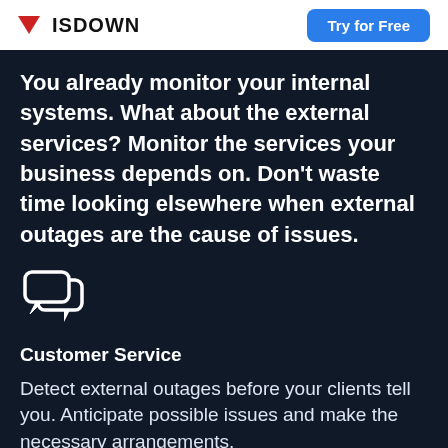ISDOWN | Try for Free
You already monitor your internal systems. What about the external services? Monitor the services your business depends on. Don't waste time looking elsewhere when external outages are the cause of issues.
[Figure (illustration): Chat bubble / customer service icon in white outline on dark background]
Customer Service
Detect external outages before your clients tell you. Anticipate possible issues and make the necessary arrangements.